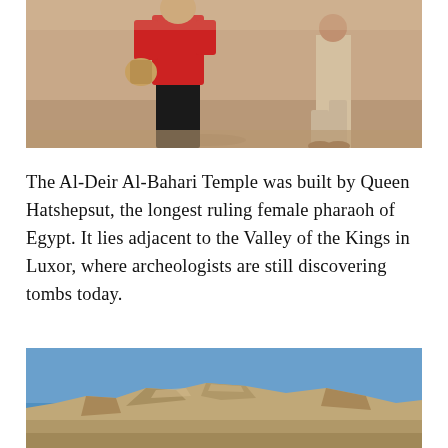[Figure (photo): Two people walking on sandy ground. The figure in the foreground wears a red shirt and dark pants and carries a basket or bag. Another figure in light clothing is visible in the background to the right.]
The Al-Deir Al-Bahari Temple was built by Queen Hatshepsut, the longest ruling female pharaoh of Egypt. It lies adjacent to the Valley of the Kings in Luxor, where archeologists are still discovering tombs today.
[Figure (photo): Rocky desert cliffs and hills under a clear blue sky, likely the Valley of the Kings area near Luxor, Egypt.]